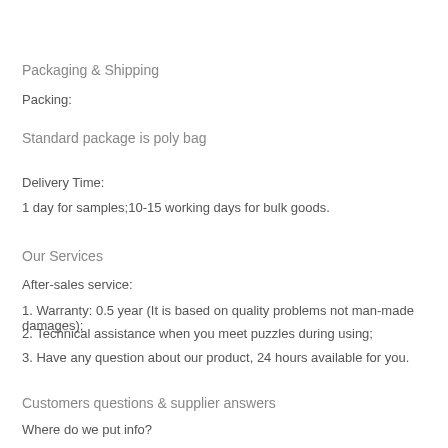Packaging & Shipping
Packing:
Standard package is poly bag
Delivery Time:
1 day for samples;10-15 working days for bulk goods.
Our Services
After-sales service:
1. Warranty: 0.5 year (It is based on quality problems not man-made damages);
2. Technical assistance when you meet puzzles during using;
3. Have any question about our product, 24 hours available for you.
Customers questions & supplier answers
Where do we put info?